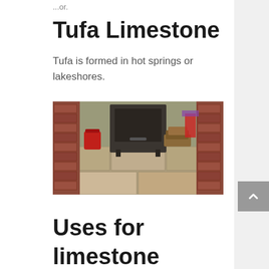...or.
Tufa Limestone
Tufa is formed in hot springs or lakeshores.
[Figure (photo): Photo of a limestone-tiled floor in front of a brick fireplace with a wood-burning stove, decorated with various objects.]
Uses for
limestone